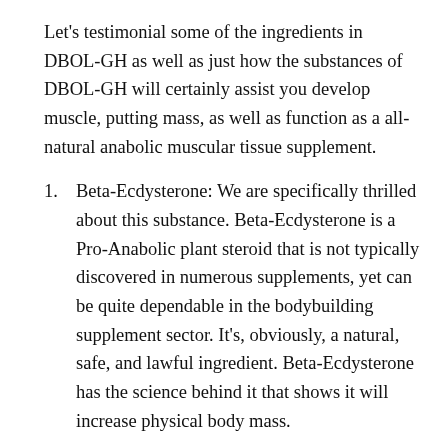Let's testimonial some of the ingredients in DBOL-GH as well as just how the substances of DBOL-GH will certainly assist you develop muscle, putting mass, as well as function as a all-natural anabolic muscular tissue supplement.
1. Beta-Ecdysterone: We are specifically thrilled about this substance. Beta-Ecdysterone is a Pro-Anabolic plant steroid that is not typically discovered in numerous supplements, yet can be quite dependable in the bodybuilding supplement sector. It's, obviously, a natural, safe, and lawful ingredient. Beta-Ecdysterone has the science behind it that shows it will increase physical body mass.
2. Inosine: Inosine is categorized as a nucleoside and is a forerunner to an